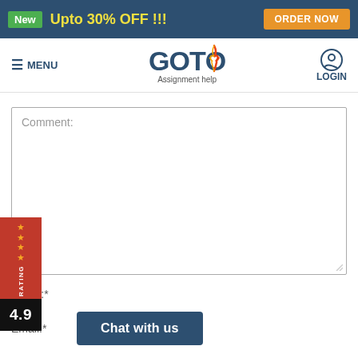New  Upto 30% OFF !!!  ORDER NOW
[Figure (logo): GOTO Assignment help logo with navigation menu and LOGIN button]
[Figure (infographic): Rating badge showing 4.9 star rating on left side]
Comment:
Name:*
Email:*
Chat with us